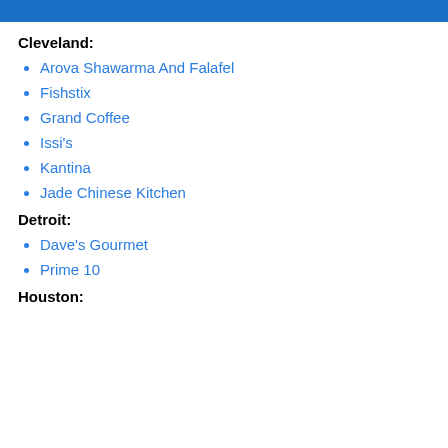BansDeals
Cleveland:
Arova Shawarma And Falafel
Fishstix
Grand Coffee
Issi's
Kantina
Jade Chinese Kitchen
Detroit:
Dave's Gourmet
Prime 10
Houston: